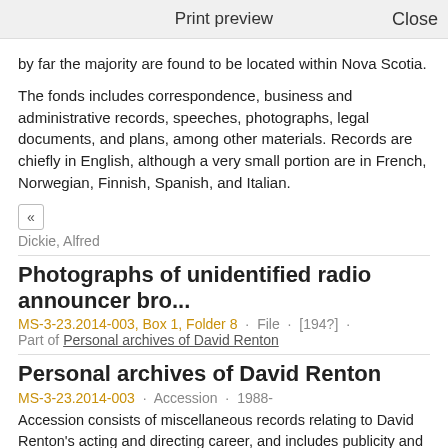Print preview    Close
by far the majority are found to be located within Nova Scotia.
The fonds includes correspondence, business and administrative records, speeches, photographs, legal documents, and plans, among other materials. Records are chiefly in English, although a very small portion are in French, Norwegian, Finnish, Spanish, and Italian.
« Dickie, Alfred
Photographs of unidentified radio announcer bro...
MS-3-23.2014-003, Box 1, Folder 8 · File · [194?] · Part of Personal archives of David Renton
Personal archives of David Renton
MS-3-23.2014-003 · Accession · 1988-
Accession consists of miscellaneous records relating to David Renton's acting and directing career, and includes publicity and performance photographs, correspondence, contracts, appointment calendars and diaries. There are also publicity photographs of Karine Renton's father announcing the CHNS radio program Now it Can Be Told. « Renton, David, 1934-2006